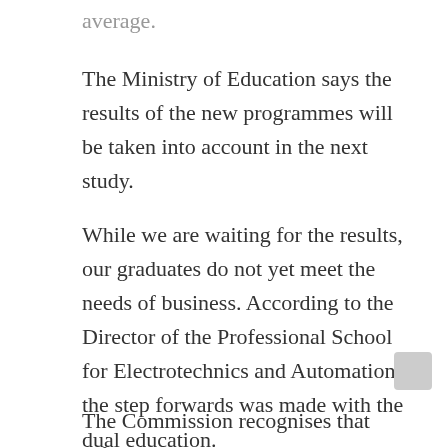average.
The Ministry of Education says the results of the new programmes will be taken into account in the next study.
While we are waiting for the results, our graduates do not yet meet the needs of business. According to the Director of the Professional School for Electrotechnics and Automation, the step forwards was made with the dual education.
The Commission recognises that reforms